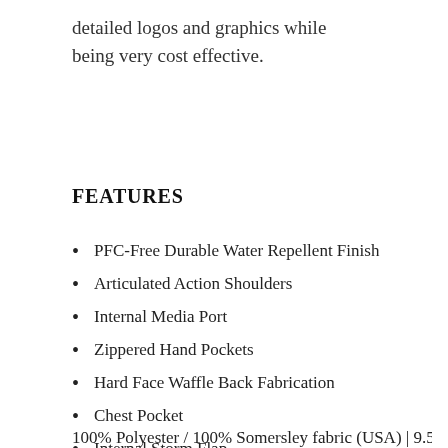detailed logos and graphics while being very cost effective.
FEATURES
PFC-Free Durable Water Repellent Finish
Articulated Action Shoulders
Internal Media Port
Zippered Hand Pockets
Hard Face Waffle Back Fabrication
Chest Pocket
Internal Storm Flap
Elasticized Cuffs
100% Polyester / 100% Somersley fabric (USA) | 9.5...